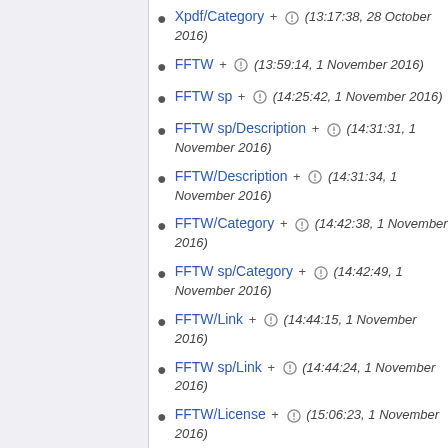Xpdf/Category + (13:17:38, 28 October 2016)
FFTW + (13:59:14, 1 November 2016)
FFTW sp + (14:25:42, 1 November 2016)
FFTW sp/Description + (14:31:31, 1 November 2016)
FFTW/Description + (14:31:34, 1 November 2016)
FFTW/Category + (14:42:38, 1 November 2016)
FFTW sp/Category + (14:42:49, 1 November 2016)
FFTW/Link + (14:44:15, 1 November 2016)
FFTW sp/Link + (14:44:24, 1 November 2016)
FFTW/License + (15:06:23, 1 November 2016)
FFTW sp/License + (15:06:38, 1